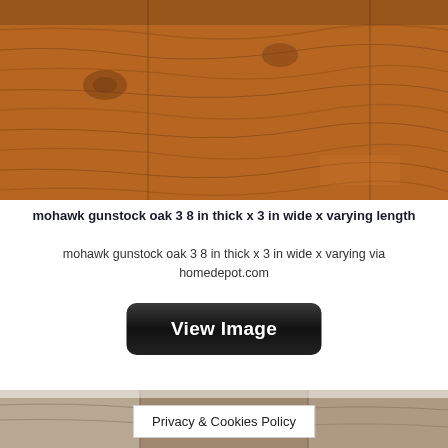[Figure (photo): Close-up photo of Mohawk gunstock oak hardwood flooring showing warm brown wood grain texture with natural knots and grain variation]
mohawk gunstock oak 3 8 in thick x 3 in wide x varying length
mohawk gunstock oak 3 8 in thick x 3 in wide x varying via homedepot.com
[Figure (other): Black rounded button with white text reading 'View Image']
[Figure (photo): Partial photo of lighter gray/beige wood flooring planks at bottom of page]
Privacy & Cookies Policy